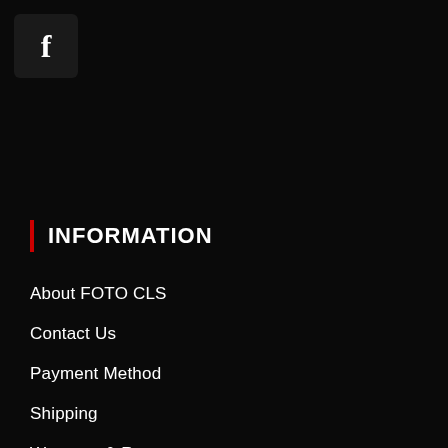[Figure (logo): Facebook icon — white 'f' letter on dark square with rounded corners]
INFORMATION
About FOTO CLS
Contact Us
Payment Method
Shipping
Warranty & Returns
Pre-Order T&C
Store Locator